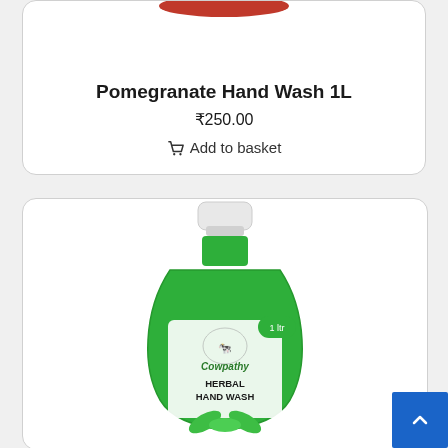[Figure (photo): Partial view of a red pomegranate hand wash product bottle at the top of the first card]
Pomegranate Hand Wash 1L
₹250.00
🛒 Add to basket
[Figure (photo): Green Cowpathy Herbal Hand Wash 1 litre bottle with white cap, label showing cow logo and text 'HERBAL HAND WASH']